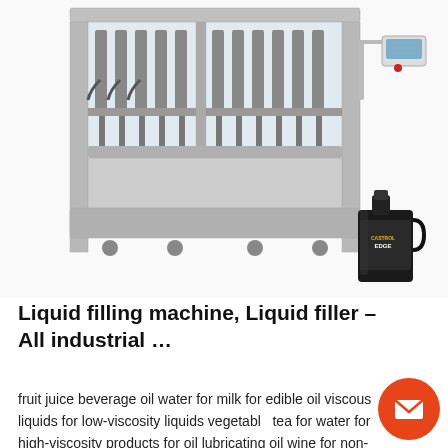[Figure (photo): Industrial liquid filling machine (multi-head piston filler, stainless steel) with a control panel on right arm and a black motor oil bottle (Castrol Edge) shown lower right]
Liquid filling machine, Liquid filler – All industrial …
fruit juice beverage oil water for milk for edible oil viscous liquids for low-viscosity liquids vegetable tea for water for high-viscosity products for oil lubricating oil wine for non-foaming liquids, ...